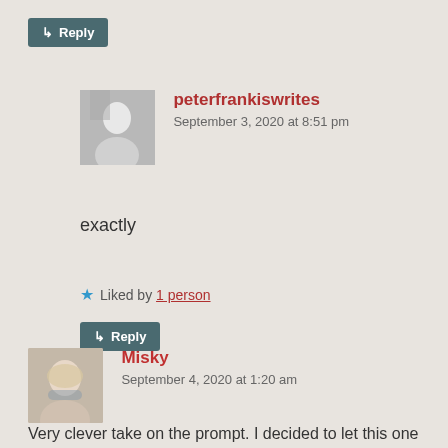↳ Reply
peterfrankiswrites
September 3, 2020 at 8:51 pm
exactly
Liked by 1 person
↳ Reply
Misky
September 4, 2020 at 1:20 am
Very clever take on the prompt. I decided to let this one